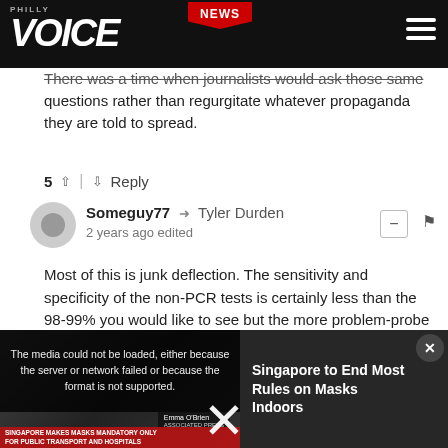PHILLY VOICE — NEWS
There was a time when journalists would ask those same questions rather than regurgitate whatever propaganda they are told to spread.
5 ^ | v Reply
Someguy77 → Tyler Durden
2 years ago edited
Most of this is junk deflection. The sensitivity and specificity of the non-PCR tests is certainly less than the 98-99% you would like to see but the more problem-probe rates which were producing higher rates of false positives aren't largely
[Figure (screenshot): Video player overlay showing error message: 'The media could not be loaded, either because the server or network failed or because the format is not supported.' Alongside a news article headline 'Singapore to End Most Rules on Masks Indoors' with a video thumbnail showing a reporter and a banner 'SINGAPORE MAKES MASKS MANDATORY ONLY FOR PUBLIC TRANSPORT AND HOSPITALS'. A close button X is visible.]
overwhelming the hospital systems in areas. Already a number of areas with no staffed hospital and ICU beds due to COVID and having to set up external tents or use alternative facilities.